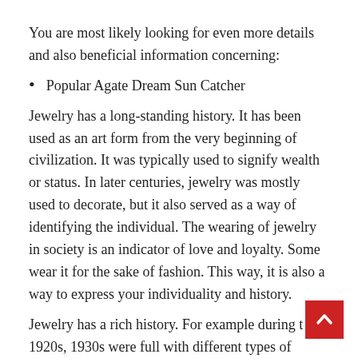You are most likely looking for even more details and also beneficial information concerning:
Popular Agate Dream Sun Catcher
Jewelry has a long-standing history. It has been used as an art form from the very beginning of civilization. It was typically used to signify wealth or status. In later centuries, jewelry was mostly used to decorate, but it also served as a way of identifying the individual. The wearing of jewelry in society is an indicator of love and loyalty. Some wear it for the sake of fashion. This way, it is also a way to express your individuality and history.
Jewelry has a rich history. For example during t… 1920s, 1930s were full with different types of